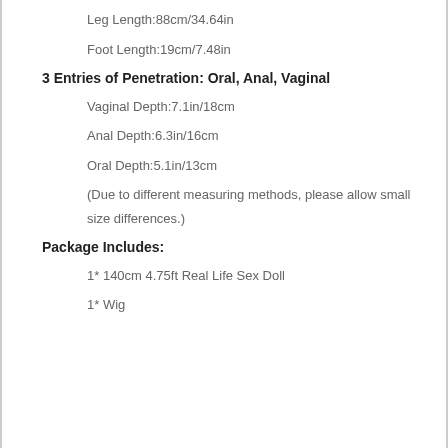Leg Length:88cm/34.64in
Foot Length:19cm/7.48in
3 Entries of Penetration: Oral, Anal, Vaginal
Vaginal Depth:7.1in/18cm
Anal Depth:6.3in/16cm
Oral Depth:5.1in/13cm
(Due to different measuring methods, please allow small size differences.)
Package Includes:
1* 140cm 4.75ft Real Life Sex Doll
1* Wig